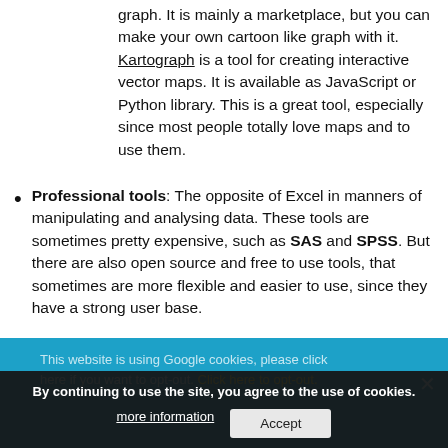graph. It is mainly a marketplace, but you can make your own cartoon like graph with it. Kartograph is a tool for creating interactive vector maps. It is available as JavaScript or Python library. This is a great tool, especially since most people totally love maps and to use them.
Professional tools: The opposite of Excel in manners of manipulating and analysing data. These tools are sometimes pretty expensive, such as SAS and SPSS. But there are also open source and free to use tools, that sometimes are more flexible and easier to use, since they have a strong user base.
R: Besides its nearly unlimited supply of libraries for all manners of analysis, R also has lots of packages concerning visualizing data and makes good use of
By continuing to use the site, you agree to the use of cookies. more information   Accept
This website is using Google cookies, please click here if you want to opt-out. Click here to opt-out.